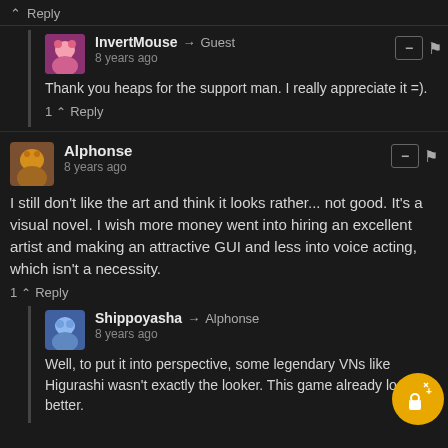Reply
InvertMouse → Guest
8 years ago
Thank you heaps for the support man. I really appreciate it =).
1 ↑ Reply
Alphonse
8 years ago
I still don't like the art and think it looks rather... not good. It's a visual novel. I wish more money went into hiring an excellent artist and making an attractive GUI and less into voice acting, which isn't a necessity.
1 ↑ Reply
Shippoyasha → Alphonse
8 years ago
Well, to put it into perspective, some legendary VNs like Higurashi wasn't exactly the looker. This game already looks better.